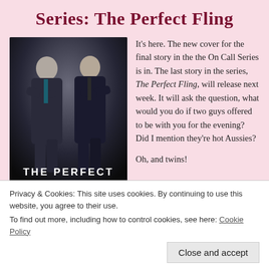Series: The Perfect Fling
[Figure (illustration): Book cover for 'The Perfect Fling' showing two men in dark suits standing back-to-back with arms crossed against a dark background, with the title text 'THE PERFECT FLING' in white at the bottom.]
It’s here. The new cover for the final story in the the On Call Series is in. The last story in the series, The Perfect Fling, will release next week. It will ask the question, what would you do if two guys offered to be with you for the evening? Did I mention they’re hot Aussies?

Oh, and twins!
Privacy & Cookies: This site uses cookies. By continuing to use this website, you agree to their use.
To find out more, including how to control cookies, see here: Cookie Policy
Close and accept